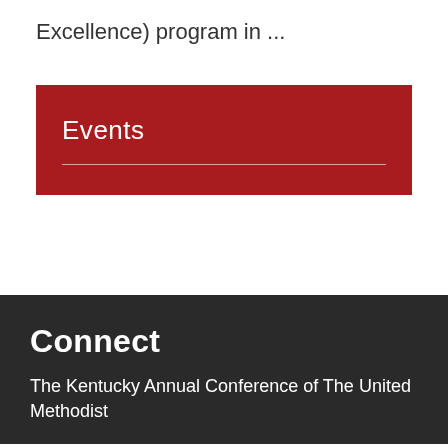Excellence) program in ...
Events
Connect
The Kentucky Annual Conference of The United Methodist